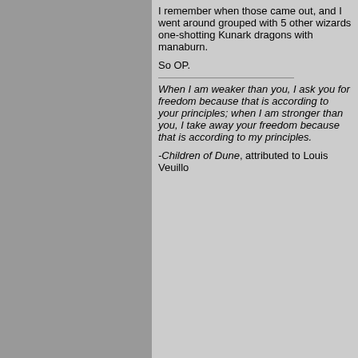I remember when those came out, and I went around grouped with 5 other wizards one-shotting Kunark dragons with manaburn.

So OP.

When I am weaker than you, I ask you for freedom because that is according to your principles; when I am stronger than you, I take away your freedom because that is according to my principles.
-Children of Dune, attributed to Louis Veuillot
Back to top
mchicken is dejected.
Cover of Rush's Seminal Album
[Figure (photo): Rush album cover showing the band name in red letters at top on dark background, with a scene below depicting figures in red robes near a fire in front of an ornate stone building with arches]
Posted: Wed Jul 29, 2009 8:56 pm
Post subject:
awerbos wrote:
Yes, but it's the whole thing about being able to draw in/retain people who wouldn't play EQ that makes WoW lots of money.
It's a different era. I think a lot less people were using the internet for things like gaming when EQ came out.